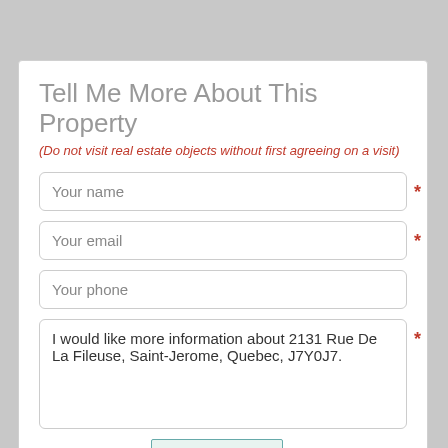Tell Me More About This Property
(Do not visit real estate objects without first agreeing on a visit)
Your name
Your email
Your phone
I would like more information about 2131 Rue De La Fileuse, Saint-Jerome, Quebec, J7Y0J7.
Enter the code:
[Figure (other): CAPTCHA image showing distorted digits 5 8 6 with wavy line background]
* (required field indicator)